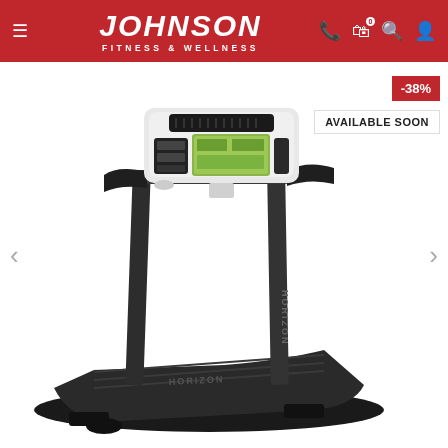Johnson Fitness & Wellness
[Figure (photo): Horizon brand treadmill with digital display console, black frame, handlebars, and running belt shown at an angle against white background. Features -38% discount badge and AVAILABLE SOON label.]